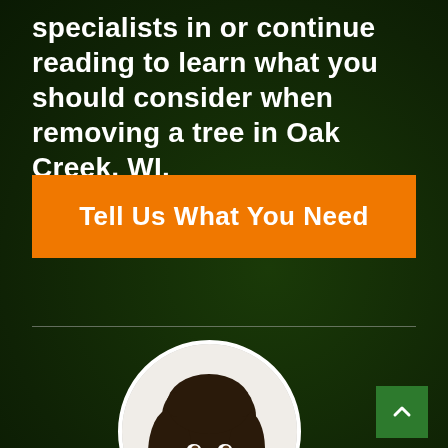specialists in or continue reading to learn what you should consider when removing a tree in Oak Creek, WI.
Tell Us What You Need
[Figure (photo): Circular portrait photo of a smiling woman with dark hair against a white background]
[Figure (other): Green scroll-to-top button with upward chevron arrow in bottom right corner]